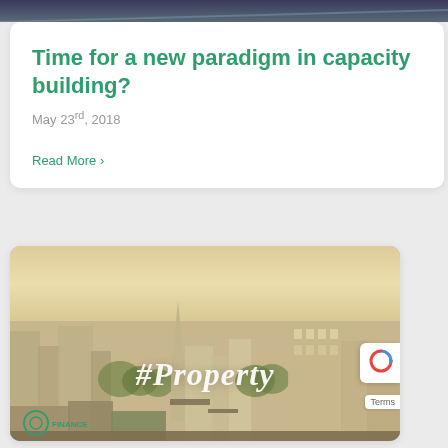[Figure (photo): Top decorative image strip showing partial view of the page header]
Time for a new paradigm in capacity building?
May 23rd, 2018
Read More >
[Figure (photo): Urban cityscape photo at golden hour showing buildings, a church steeple, and overlay text '#Property' in white italic script, with a logo in the bottom left and a Terms badge on the right]